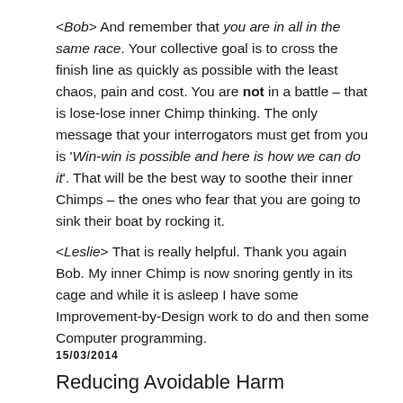<Bob> And remember that you are in all in the same race. Your collective goal is to cross the finish line as quickly as possible with the least chaos, pain and cost. You are not in a battle – that is lose-lose inner Chimp thinking. The only message that your interrogators must get from you is 'Win-win is possible and here is how we can do it'. That will be the best way to soothe their inner Chimps – the ones who fear that you are going to sink their boat by rocking it.
<Leslie> That is really helpful. Thank you again Bob. My inner Chimp is now snoring gently in its cage and while it is asleep I have some Improvement-by-Design work to do and then some Computer programming.
15/03/2014
Reducing Avoidable Harm